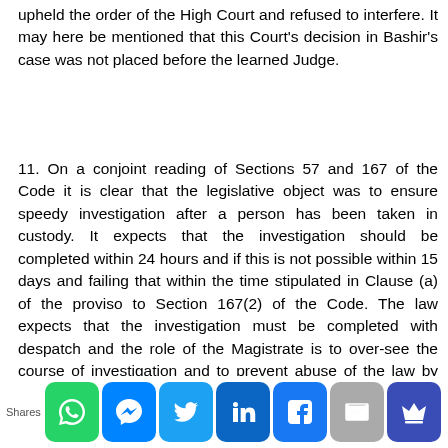upheld the order of the High Court and refused to interfere. It may here be mentioned that this Court's decision in Bashir's case was not placed before the learned Judge.
11. On a conjoint reading of Sections 57 and 167 of the Code it is clear that the legislative object was to ensure speedy investigation after a person has been taken in custody. It expects that the investigation should be completed within 24 hours and if this is not possible within 15 days and failing that within the time stipulated in Clause (a) of the proviso to Section 167(2) of the Code. The law expects that the investigation must be completed with despatch and the role of the Magistrate is to over-see the course of investigation and to prevent abuse of the law by the investigating agency. As stated earlier, the legislative